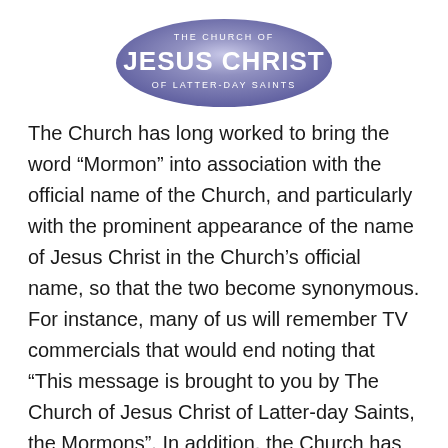[Figure (logo): The Church of Jesus Christ of Latter-day Saints official logo — oval gradient background with text arranged in three lines: 'THE CHURCH OF' (small caps), 'JESUS CHRIST' (large display), 'OF LATTER-DAY SAINTS' (small caps)]
The Church has long worked to bring the word “Mormon” into association with the official name of the Church, and particularly with the prominent appearance of the name of Jesus Christ in the Church’s official name, so that the two become synonymous. For instance, many of us will remember TV commercials that would end noting that “This message is brought to you by The Church of Jesus Christ of Latter-day Saints, the Mormons”. In addition, the Church has always emphasized the official name of the Church as part of the larger project of making people aware of the Church’s Christ-entered existence and message. In 1995, part of this effort included redesigning the logo to highlight the prominence of the name of Jesus